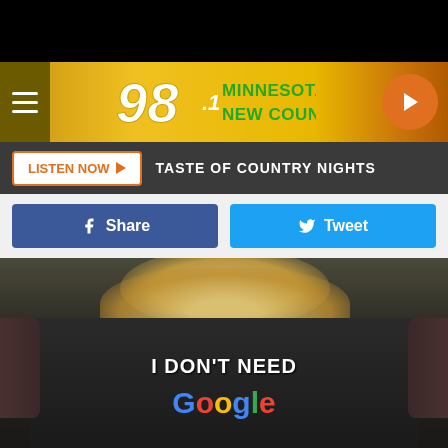[Figure (screenshot): Radio station website screenshot for 98.1 Minnesota's New Country with navigation header, listen now bar, social share buttons, and photo of person wearing 'I DON'T NEED Google' t-shirt]
LISTEN NOW
TASTE OF COUNTRY NIGHTS
Share
Tweet
I DON'T NEED Google